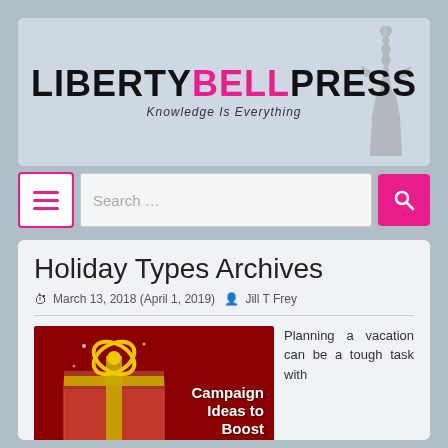[Figure (logo): Liberty Bell Press logo with text LIBERTY BELL PRESS and tagline Knowledge Is Everything, with Statue of Liberty illustration]
[Figure (screenshot): Navigation toolbar with hamburger menu button (pink border), search box with placeholder text Search..., and pink search button with magnifying glass icon]
Holiday Types Archives
March 13, 2018 (April 1, 2019)  Jill T Frey
[Figure (photo): Red background image with a gift box wrapped in gold ribbon and text Campaign Ideas to Boost Holiday...]
Planning a vacation can be a tough task with...